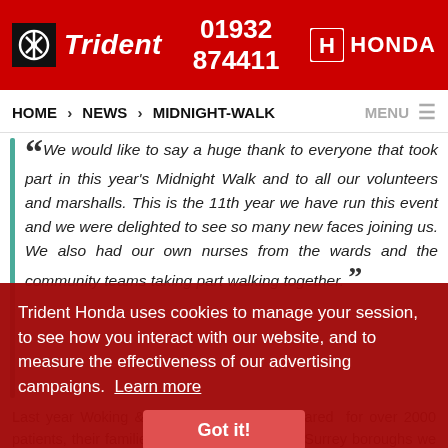Trident Honda — 01932 874411 — HONDA
HOME > NEWS > MIDNIGHT-WALK
" We would like to say a huge thank to everyone that took part in this year's Midnight Walk and to all our volunteers and marshalls. This is the 11th year we have run this event and we were delighted to see so many new faces joining us. We also had our own nurses from the wards and the community teams taking part walking together. "
Trident Honda uses cookies to manage your session, to see how you interact with our website, and to measure the effectiveness of our advertising campaigns. Learn more
Got it!
Last year Woking & Sam Beare Hospices cared for over 2000 patients, their families and carers across six Surrey boroughs we cannot provide this care without the support of